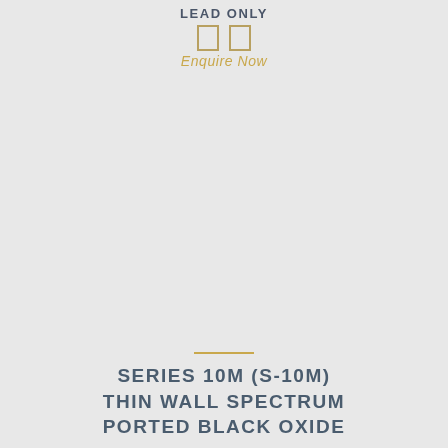LEAD ONLY
Enquire Now
SERIES 10M (S-10M) THIN WALL SPECTRUM PORTED BLACK OXIDE